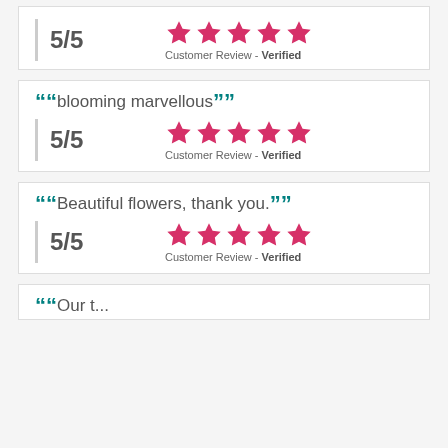5/5 | Customer Review - Verified
"blooming marvellous" | 5/5 | Customer Review - Verified
"Beautiful flowers, thank you." | 5/5 | Customer Review - Verified
"[partially visible quote]"